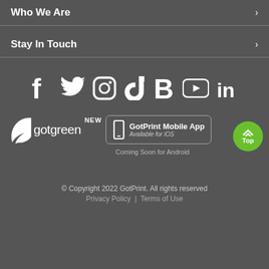Who We Are
Stay In Touch
[Figure (infographic): Social media icons row: Facebook, Twitter, Instagram, TikTok, Blogger (B), YouTube, LinkedIn]
[Figure (infographic): GotGreen logo with leaf icon and GotPrint Mobile App badge (Available for iOS), NEW starburst label, Coming Soon for Android text, green Top button]
© Copyright 2022 GotPrint. All rights reserved  Privacy Policy  |  Terms of Use